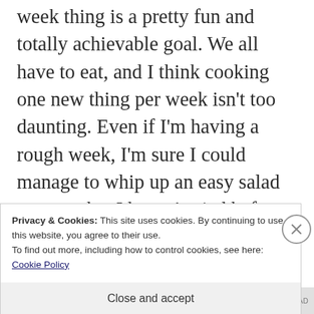week thing is a pretty fun and totally achievable goal. We all have to eat, and I think cooking one new thing per week isn't too daunting. Even if I'm having a rough week, I'm sure I could manage to whip up an easy salad or soup that I haven't tried before. And if all else fails, there are a few cocktail recipes I've been
Privacy & Cookies: This site uses cookies. By continuing to use this website, you agree to their use.
To find out more, including how to control cookies, see here: Cookie Policy
Close and accept